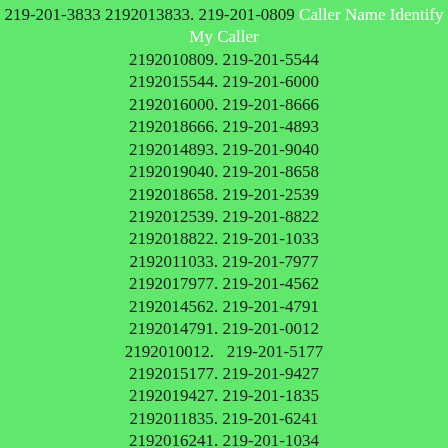219-201-3833 2192013833. 219-201-0809 Caller Name Identify My Caller 2192010809. 219-201-5544 2192015544. 219-201-6000 2192016000. 219-201-8666 2192018666. 219-201-4893 2192014893. 219-201-9040 2192019040. 219-201-8658 2192018658. 219-201-2539 2192012539. 219-201-8822 2192018822. 219-201-1033 2192011033. 219-201-7977 2192017977. 219-201-4562 2192014562. 219-201-4791 2192014791. 219-201-0012 2192010012.  219-201-5177 2192015177. 219-201-9427 2192019427. 219-201-1835 2192011835. 219-201-6241 2192016241. 219-201-1034 2192011034. 219-201-8166 2192018166. 219-201-8454 2192018454. 219-201-2087 2192012087. 219-201-7588 2192017588. 219-201-6650